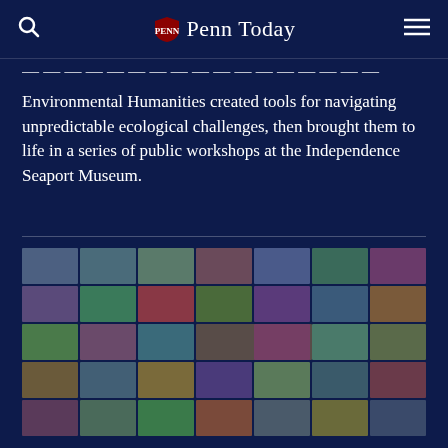Penn Today
Environmental Humanities created tools for navigating unpredictable ecological challenges, then brought them to life in a series of public workshops at the Independence Seaport Museum.
[Figure (photo): A collage/mosaic of many photographs showing Penn university events, people, ceremonies, gatherings, and activities.]